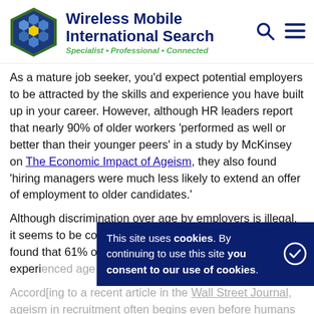Wireless Mobile International Search — Specialist • Professional • Connected
As a mature job seeker, you'd expect potential employers to be attracted by the skills and experience you have built up in your career. However, although HR leaders report that nearly 90% of older workers 'performed as well or better than their younger peers' in a study by McKinsey on The Economic Impact of Ageism, they also found 'hiring managers were much less likely to extend an offer of employment to older candidates.'
Although discrimination over age by employers is illegal, it seems to be commonplace. A recent study by AARP found that 61% of respondents over the age of 45 have experi[enced age discrimination in the workforce]. According to a recent article in the Wall Street Journal, ageism in recruitment often begins even before humans are involved. Although employers can't reject applicants
This site uses cookies. By continuing to use this site you consent to our use of cookies.